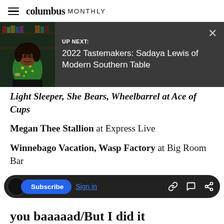columbus MONTHLY
[Figure (infographic): UP NEXT overlay bar with photo of a woman in a green floral top, on dark background. Text: UP NEXT: 2022 Tastemakers: Sadaya Lewis of Modern Southern Table. X close button.]
Light Sleeper, She Bears, Wheelbarrel at Ace of Cups
Megan Thee Stallion at Express Live
Winnebago Vacation, Wasp Factory at Big Room Bar
Jayus, Sister Owsley, Radattack at Used Kids
[Figure (screenshot): Navigation bottom bar with Subscribe button (blue), Sign in link, and icons for link, comment, and share on dark rounded bar background.]
you baaaaad/But I did it